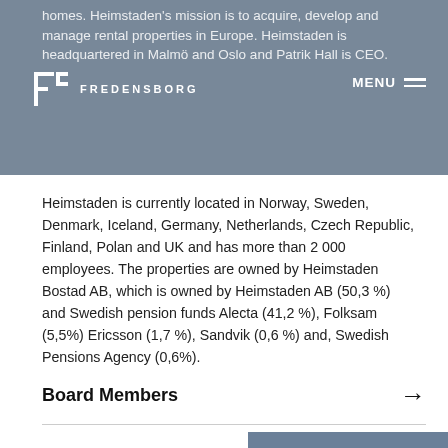homes. Heimstaden's mission is to acquire, develop and manage rental properties in Europe. Heimstaden is headquartered in Malmö and Oslo and Patrik Hall is CEO.
Heimstaden is currently located in Norway, Sweden, Denmark, Iceland, Germany, Netherlands, Czech Republic, Finland, Polan and UK and has more than 2 000 employees. The properties are owned by Heimstaden Bostad AB, which is owned by Heimstaden AB (50,3 %) and Swedish pension funds Alecta (41,2 %), Folksam (5,5%) Ericsson (1,7 %), Sandvik (0,6 %) and, Swedish Pensions Agency (0,6%).
Board Members